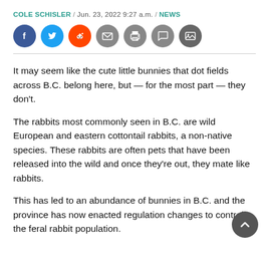COLE SCHISLER / Jun. 23, 2022 9:27 a.m. / NEWS
[Figure (other): Social sharing icons: Facebook, Twitter, Reddit, Email, Print, Comment, Gallery]
It may seem like the cute little bunnies that dot fields across B.C. belong here, but — for the most part — they don't.
The rabbits most commonly seen in B.C. are wild European and eastern cottontail rabbits, a non-native species. These rabbits are often pets that have been released into the wild and once they're out, they mate like rabbits.
This has led to an abundance of bunnies in B.C. and the province has now enacted regulation changes to control the feral rabbit population.